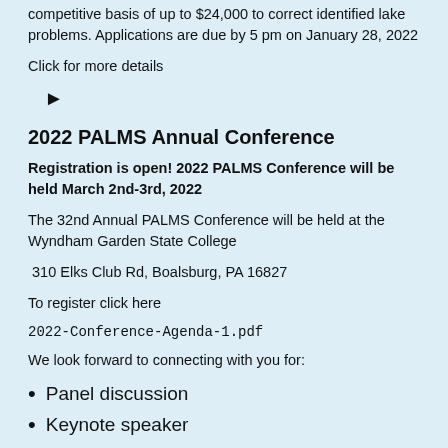competitive basis of up to $24,000 to correct identified lake problems. Applications are due by 5 pm on January 28, 2022
Click for more details
[Figure (other): Play button triangle icon]
2022 PALMS Annual Conference
Registration is open! 2022 PALMS Conference will be held March 2nd-3rd, 2022
The 32nd Annual PALMS Conference will be held at the Wyndham Garden State College
310 Elks Club Rd, Boalsburg, PA 16827
To register click here
2022-Conference-Agenda-1.pdf
We look forward to connecting with you for:
Panel discussion
Keynote speaker
Live Concurrent sessions